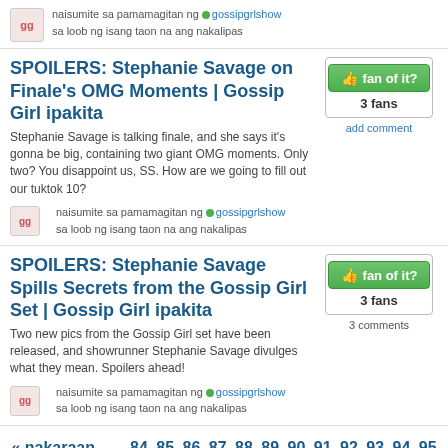naisumite sa pamamagitan ng • gossipgrlshow sa loob ng isang taon na ang nakalipas
SPOILERS: Stephanie Savage on Finale's OMG Moments | Gossip Girl ipakita
Stephanie Savage is talking finale, and she says it's gonna be big, containing two giant OMG moments. Only two? You disappoint us, SS. How are we going to fill out our tuktok 10?
naisumite sa pamamagitan ng • gossipgrlshow sa loob ng isang taon na ang nakalipas
SPOILERS: Stephanie Savage Spills Secrets from the Gossip Girl Set | Gossip Girl ipakita
Two new pics from the Gossip Girl set have been released, and showrunner Stephanie Savage divulges what they mean. Spoilers ahead!
naisumite sa pamamagitan ng • gossipgrlshow sa loob ng isang taon na ang nakalipas
« nakaraan ... 84 85 86 87 88 89 90 91 92 93 94 95 96 97 98 99 100 101 102 103 104 105 106 107 108 109 110 111 112 113 114 115 116 117 118 susunod »